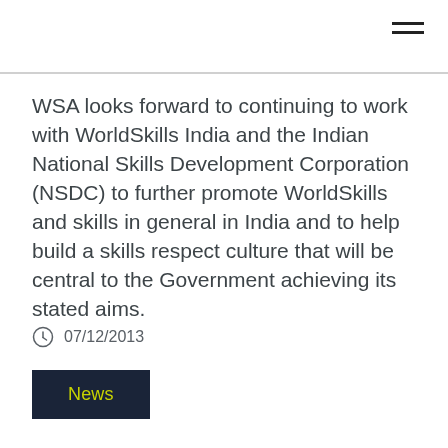WSA looks forward to continuing to work with WorldSkills India and the Indian National Skills Development Corporation (NSDC) to further promote WorldSkills and skills in general in India and to help build a skills respect culture that will be central to the Government achieving its stated aims.
07/12/2013
News